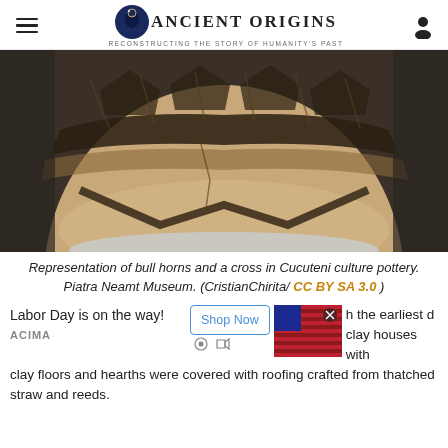Ancient Origins — Reconstructing the story of humanity's past
[Figure (photo): Close-up photograph of ancient Cucuteni culture pottery showing bull horns and cross decorations, displayed on a white pedestal against a dark background. The ceramic vessel is tan/brown with dark geometric painted designs.]
Representation of bull horns and a cross in Cucuteni culture pottery. Piatra Neamt Museum. (CristianChirita/ CC BY SA 3.0 )
Labor Day is on the way!
ACIMA
h the earliest d clay houses with clay floors and hearths were covered with roofing crafted from thatched straw and reeds.